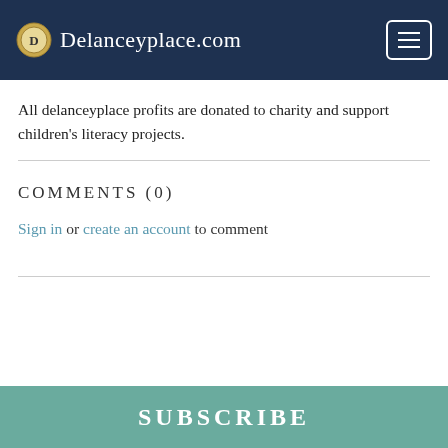Delanceyplace.com
All delanceyplace profits are donated to charity and support children's literacy projects.
COMMENTS (0)
Sign in or create an account to comment
SUBSCRIBE